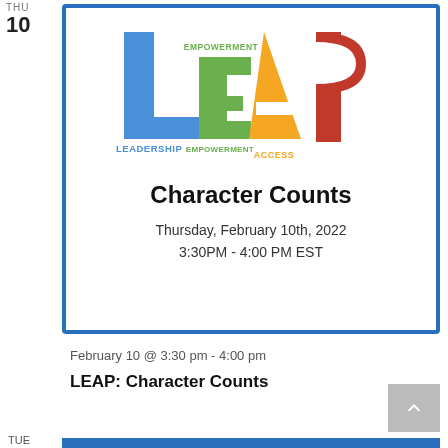THU
10
[Figure (logo): LEAP Program logo — L (blue), E (green) with EMPOWERMENT label, A (yellow/gold), P (red) with ACCESS and PROGRAM labels. Stands for Leadership Empowerment Access Program.]
Character Counts
Thursday, February 10th, 2022
3:30PM - 4:00 PM EST
February 10 @ 3:30 pm - 4:00 pm
LEAP: Character Counts
TUE